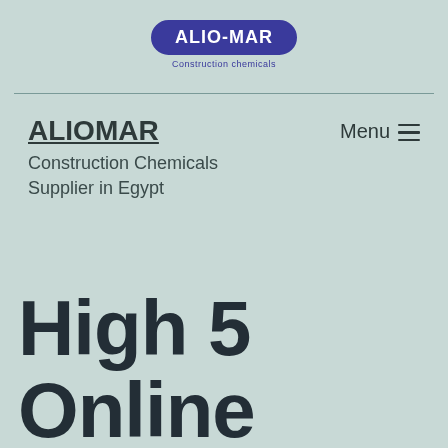[Figure (logo): ALIO-MAR Construction chemicals logo in dark blue rounded rectangle with text below]
ALIOMAR · Menu
ALIOMAR
Construction Chemicals Supplier in Egypt
Menu
High 5 Online